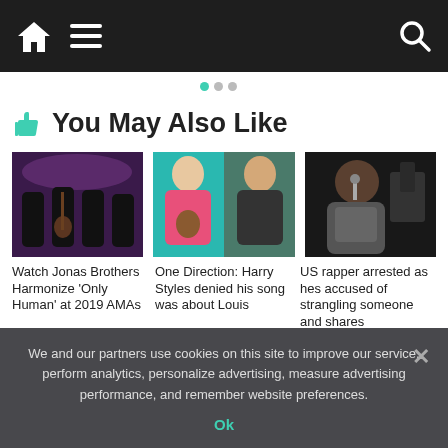Navigation bar with home, menu, and search icons
You May Also Like
[Figure (photo): Jonas Brothers performing on stage with guitars under purple stage lights]
[Figure (photo): Two men, one in a pink outfit with a guitar, the other with brown hair against a teal background]
[Figure (photo): Large man in a grey t-shirt speaking into a microphone at a concert event]
Watch Jonas Brothers Harmonize 'Only Human' at 2019 AMAs
One Direction: Harry Styles denied his song was about Louis
US rapper arrested as hes accused of strangling someone and shares
We and our partners use cookies on this site to improve our service, perform analytics, personalize advertising, measure advertising performance, and remember website preferences.
Ok